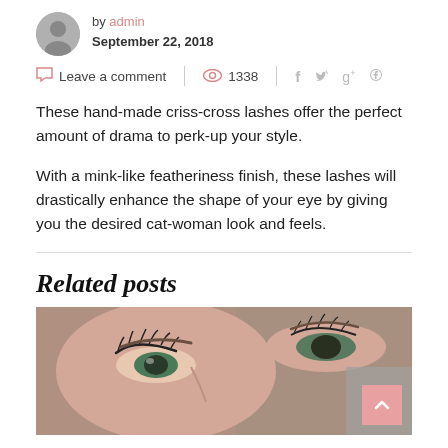by admin
September 22, 2018
Leave a comment | 1338
These hand-made criss-cross lashes offer the perfect amount of drama to perk-up your style.
With a mink-like featheriness finish, these lashes will drastically enhance the shape of your eye by giving you the desired cat-woman look and feels.
Related posts
[Figure (photo): Close-up photo of a woman's eyes with dramatic lashes and makeup]